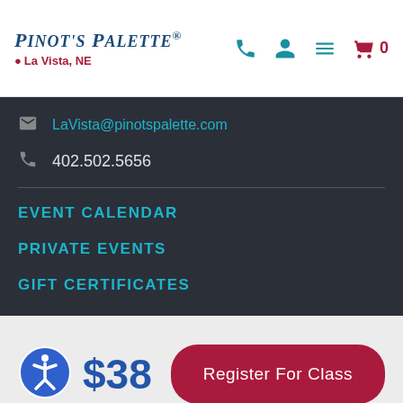Pinot's Palette — La Vista, NE
LaVista@pinotspalette.com
402.502.5656
EVENT CALENDAR
PRIVATE EVENTS
GIFT CERTIFICATES
$38
Register For Class